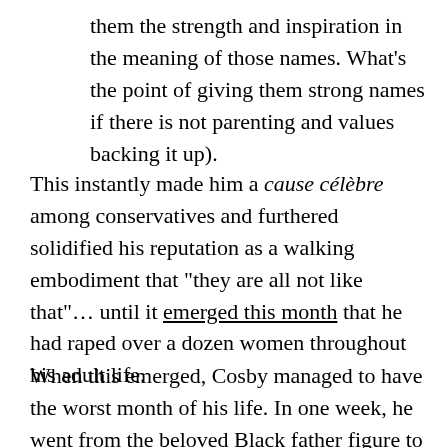them the strength and inspiration in the meaning of those names. What’s the point of giving them strong names if there is not parenting and values backing it up).
This instantly made him a cause célèbre among conservatives and furthered solidified his reputation as a walking embodiment that “they are all not like that”… until it emerged this month that he had raped over a dozen women throughout his adult life.
When this emerged, Cosby managed to have the worst month of his life. In one week, he went from the beloved Black father figure to a sociopathic